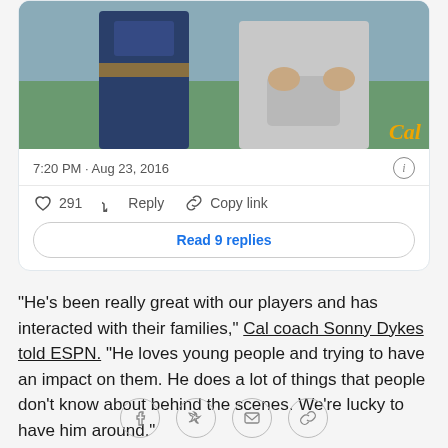[Figure (photo): Partial photo of two people, one in dark blue athletic gear with a belt, another in light gray hoodie, outdoors with green background. Cal script logo watermark in gold at bottom right.]
7:20 PM · Aug 23, 2016
291   Reply   Copy link
Read 9 replies
"He's been really great with our players and has interacted with their families," Cal coach Sonny Dykes told ESPN. "He loves young people and trying to have an impact on them. He does a lot of things that people don't know about behind the scenes. We're lucky to have him around."